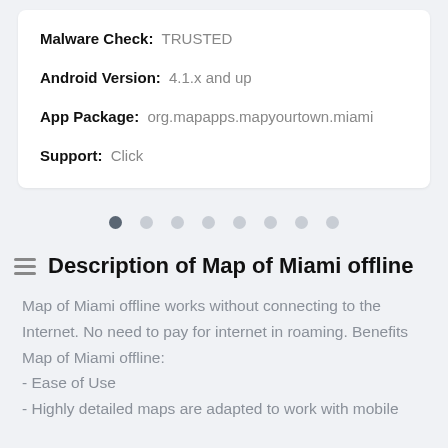Malware Check: TRUSTED
Android Version: 4.1.x and up
App Package: org.mapapps.mapyourtown.miami
Support: Click
[Figure (other): Pagination dots row, 8 dots, first dot is active/dark, rest are light gray]
Description of Map of Miami offline
Map of Miami offline works without connecting to the Internet. No need to pay for internet in roaming. Benefits Map of Miami offline:
- Ease of Use
- Highly detailed maps are adapted to work with mobile